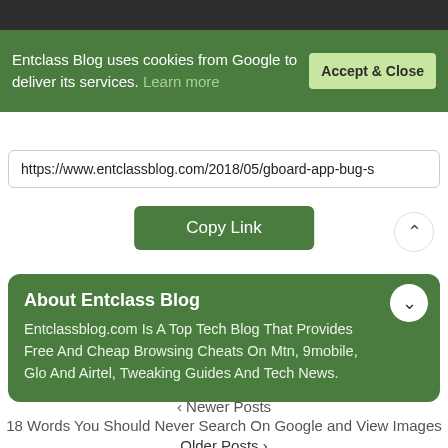Entclass Blog uses cookies from Google to deliver its services. Learn more
Accept & Close
https://www.entclassblog.com/2018/05/gboard-app-bug-s
Copy Link
About Entclass Blog
Entclassblog.com Is A Top Tech Blog That Provides Free And Cheap Browsing Cheats On Mtn, 9mobile, Glo And Airtel, Tweaking Guides And Tech News.
< Newer Posts
18 Words You Should Never Search On Google and View Images
Older Posts >
Xiaomi Mi 8 Full Specifications, Features and Price